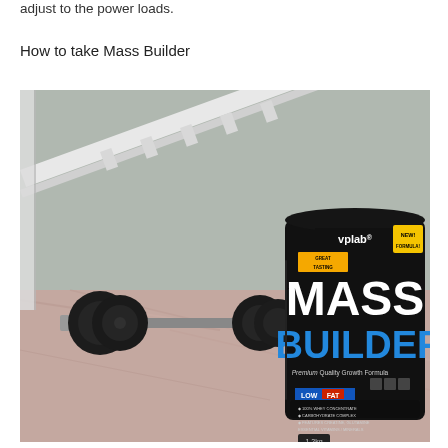adjust to the power loads.
How to take Mass Builder
[Figure (photo): A photo showing a black dumbbell set on a pinkish marble surface, with a black bag of 'vplab MASS BUILDER – Premium Quality Growth Formula' protein supplement (1.2kg) standing next to it. The background shows a white shelving unit and gym equipment.]